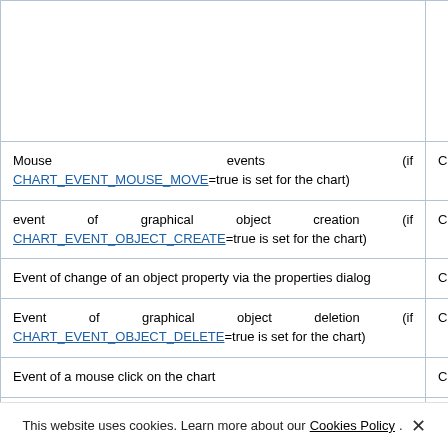| Event description | Identifier |
| --- | --- |
|  |  |
| Mouse events (if CHART_EVENT_MOUSE_MOVE=true is set for the chart) | CHARTEVENT_MOUSE_M... |
| event of graphical object creation (if CHART_EVENT_OBJECT_CREATE=true is set for the chart) | CHARTEVENT_OBJECT_C... |
| Event of change of an object property via the properties dialog | CHARTEVENT_OBJECT_C... |
| Event of graphical object deletion (if CHART_EVENT_OBJECT_DELETE=true is set for the chart) | CHARTEVENT_OBJECT_D... |
| Event of a mouse click on the chart | CHARTEVENT_CLICK |
| Event of a mouse click in a graphical object belonging to the chart | CHARTEVENT_OBJECT_C... |
This website uses cookies. Learn more about our Cookies Policy. ×